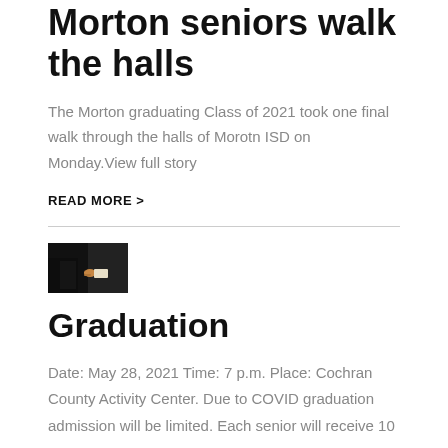Morton seniors walk the halls
The Morton graduating Class of 2021 took one final walk through the halls of Morotn ISD on Monday.View full story
READ MORE >
[Figure (photo): Dark image showing hands holding a diploma or scroll, graduation theme]
Graduation
Date: May 28, 2021 Time: 7 p.m. Place: Cochran County Activity Center. Due to COVID graduation admission will be limited. Each senior will receive 10